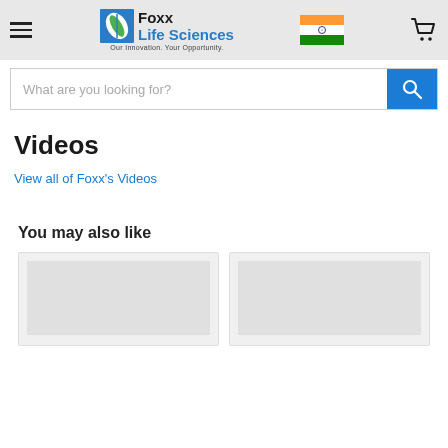Foxx Life Sciences — Our Innovation. Your Opportunity.
What are you looking for?
Videos
View all of Foxx's Videos
You may also like